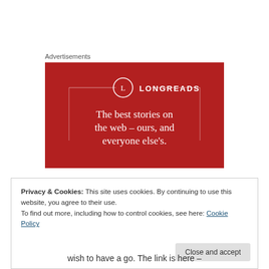Advertisements
[Figure (logo): Longreads advertisement banner. Red background with white circle logo containing the letter L and the text LONGREADS. Tagline: The best stories on the web – ours, and everyone else's.]
Privacy & Cookies: This site uses cookies. By continuing to use this website, you agree to their use.
To find out more, including how to control cookies, see here: Cookie Policy
Close and accept
wish to have a go. The link is here –